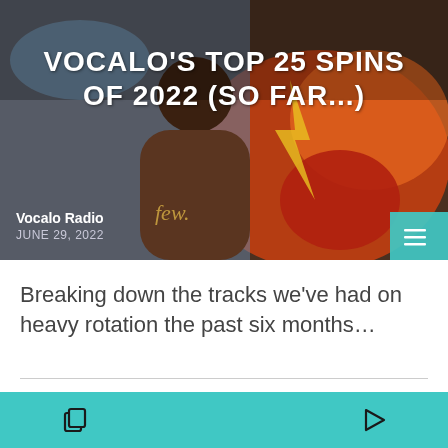[Figure (photo): Hero image of a young man wearing a brown 'few.' hoodie in front of colorful graffiti wall with orange and red motifs. Title overlay reads VOCALO'S TOP 25 SPINS OF 2022 (SO FAR...). Attribution: Vocalo Radio, June 29, 2022.]
VOCALO'S TOP 25 SPINS OF 2022 (SO FAR...)
Vocalo Radio
JUNE 29, 2022
Breaking down the tracks we've had on heavy rotation the past six months...
[Figure (screenshot): Bottom row of article cards with tags CHICAGO MUSIC, EVENTS, FEAT and partial images of performers on dark background.]
Navigation footer bar with copy and play icons on teal background.